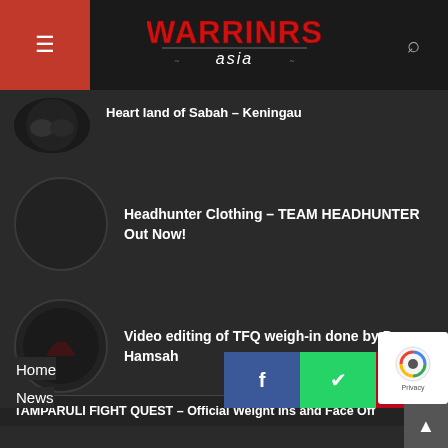Warriors Asia — navigation header with hamburger menu and search icon
Heart land of Sabah – Keningau
Headhunter Clothing – TEAM HEADHUNTER Out Now!
Video editing of TFQ weigh-in done by Dean Hamsah
TAMPARULI FIGHT QUEST – Official Weight Ins and Face Off
Home
News